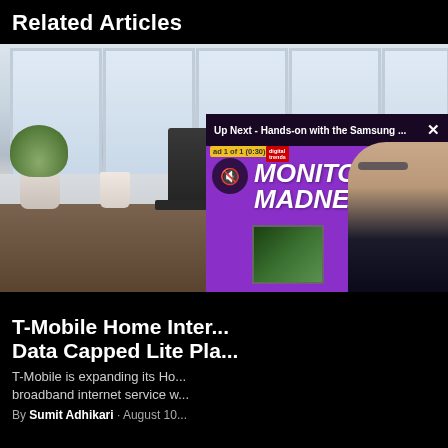Related Articles
[Figure (screenshot): Home office scene with laptop, smart speaker, plant, and cup on a wooden desk in front of large windows]
[Figure (screenshot): Video overlay showing 'Up Next - Hands-on with the Samsung ...' with Monitor Madness advertisement playing, ad 1 of 1 (0:30), muted icon, Digital Trends logo, and person gesturing]
T-Mobile Home Inter... Data Capped Lite Pla...
T-Mobile is expanding its Ho... broadband internet service w...
By Sumit Adhikari · August 10...